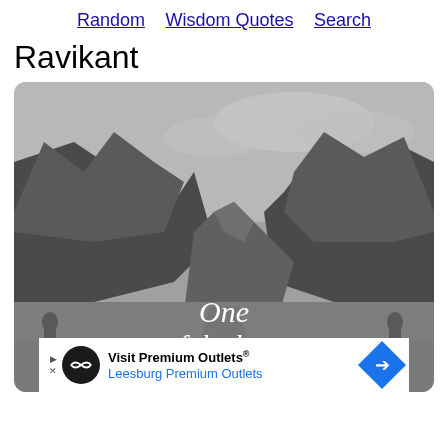Random   Wisdom Quotes   Search
Ravikant
[Figure (photo): Grayscale photo of a mountain valley with a lake and dramatic rocky peaks. White handwritten-style text overlaid reads: 'One of the keys to happiness...' An advertisement banner for 'Visit Premium Outlets® Leesburg Premium Outlets' overlays the bottom portion of the image.]